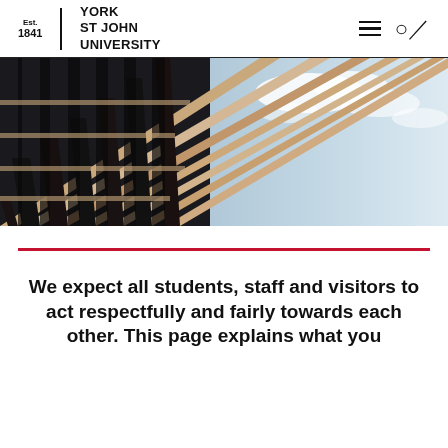Est. 1841 | YORK ST JOHN UNIVERSITY
[Figure (photo): Upward looking photograph of a modern wooden-slat building facade with blue cloudy sky in the background]
We expect all students, staff and visitors to act respectfully and fairly towards each other. This page explains what you